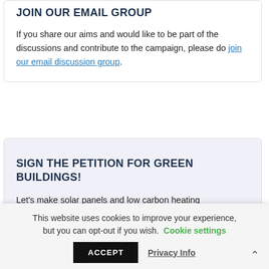JOIN OUR EMAIL GROUP
If you share our aims and would like to be part of the discussions and contribute to the campaign, please do join our email discussion group.
SIGN THE PETITION FOR GREEN BUILDINGS!
Let's make solar panels and low carbon heating
This website uses cookies to improve your experience, but you can opt-out if you wish. Cookie settings
ACCEPT  Privacy Info